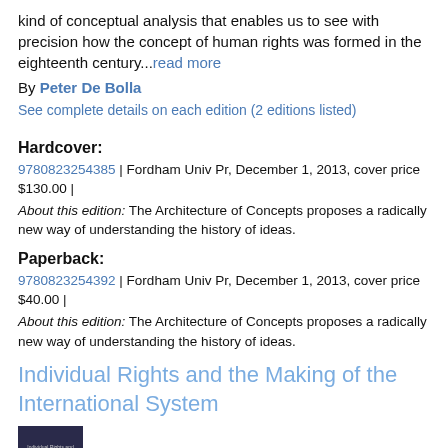kind of conceptual analysis that enables us to see with precision how the concept of human rights was formed in the eighteenth century...read more
By Peter De Bolla
See complete details on each edition (2 editions listed)
Hardcover:
9780823254385 | Fordham Univ Pr, December 1, 2013, cover price $130.00 | About this edition: The Architecture of Concepts proposes a radically new way of understanding the history of ideas.
Paperback:
9780823254392 | Fordham Univ Pr, December 1, 2013, cover price $40.00 | About this edition: The Architecture of Concepts proposes a radically new way of understanding the history of ideas.
Individual Rights and the Making of the International System
[Figure (photo): Book cover thumbnail for Individual Rights and the Making of the International System]